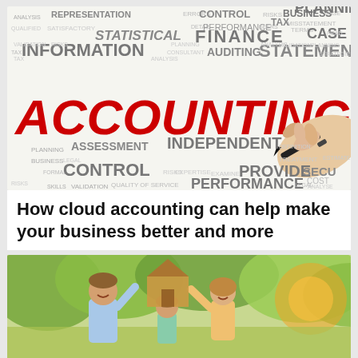[Figure (illustration): Accounting word cloud illustration with large red 'ACCOUNTING' text and various accounting-related terms in black/gray, with a hand holding a pen writing on a whiteboard]
How cloud accounting can help make your business better and more
[Figure (photo): Family (man, woman, child) outdoors in green park setting, holding a cardboard house shape above their heads, smiling. Warm sunny lighting with bokeh background.]